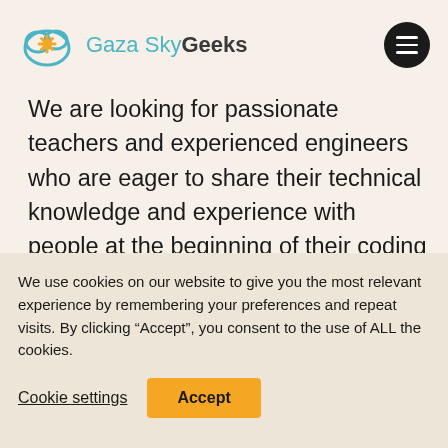Gaza Sky Geeks
We are looking for passionate teachers and experienced engineers who are eager to share their technical knowledge and experience with people at the beginning of their coding journey as well as GSG program graduates looking to gain knowledge of more specialized
We use cookies on our website to give you the most relevant experience by remembering your preferences and repeat visits. By clicking “Accept”, you consent to the use of ALL the cookies.
Cookie settings   Accept